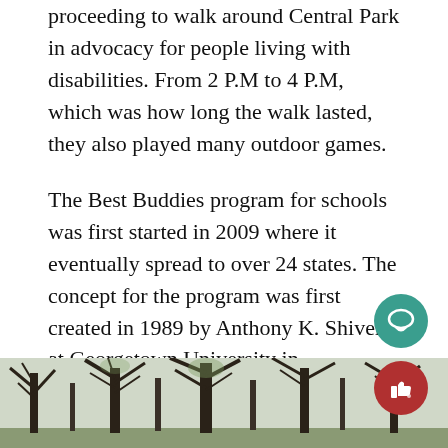proceeding to walk around Central Park in advocacy for people living with disabilities. From 2 P.M to 4 P.M, which was how long the walk lasted, they also played many outdoor games.
The Best Buddies program for schools was first started in 2009 where it eventually spread to over 24 states. The concept for the program was first created in 1989 by Anthony K. Shiver at Georgetown University in Georgetown, D.C. Shiver's intention with the creation of Best Buddies was to help kids with disabilities to improve their communication skills and public speaking while also helping them to make meaningful friendships with their peers. He wanted everyone to feel included and valued for just being themselves through this non-profit organization.
[Figure (photo): Outdoor photo showing bare winter trees silhouetted against a pale sky, taken in a park setting.]